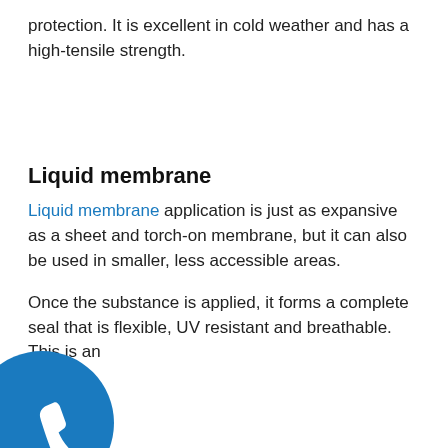protection. It is excellent in cold weather and has a high-tensile strength.
Liquid membrane
Liquid membrane application is just as expansive as a sheet and torch-on membrane, but it can also be used in smaller, less accessible areas.
Once the substance is applied, it forms a complete seal that is flexible, UV resistant and breathable. This is an
[Figure (illustration): Blue circle with white phone/call icon in bottom-left corner]